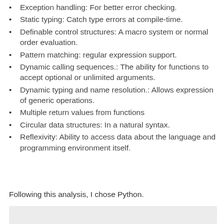Exception handling: For better error checking.
Static typing: Catch type errors at compile-time.
Definable control structures: A macro system or normal order evaluation.
Pattern matching: regular expression support.
Dynamic calling sequences.: The ability for functions to accept optional or unlimited arguments.
Dynamic typing and name resolution.: Allows expression of generic operations.
Multiple return values from functions
Circular data structures: In a natural syntax.
Reflexivity: Ability to access data about the language and programming environment itself.
Following this analysis, I chose Python.